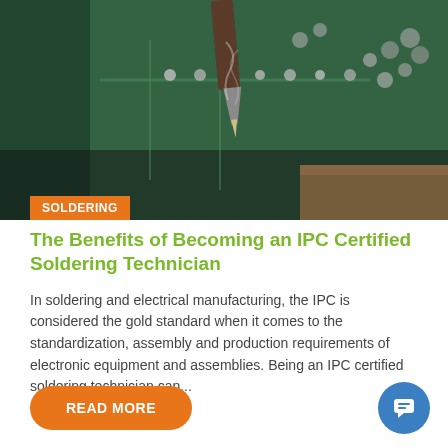[Figure (photo): Close-up photo of a soldering iron tip touching a green circuit board with solder joints and electronic components]
SOLDERING
The Benefits of Becoming an IPC Certified Soldering Technician
In soldering and electrical manufacturing, the IPC is considered the gold standard when it comes to the standardization, assembly and production requirements of electronic equipment and assemblies. Being an IPC certified soldering technician can...
READ MORE